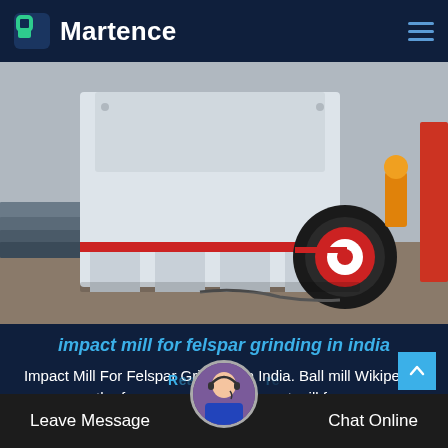Martence
[Figure (photo): Large white industrial impact mill / crusher machine with red accents and a black cylindrical roller, photographed in a factory/industrial setting with steel plates and a worker in the background.]
impact mill for felspar grinding in india
Impact Mill For Felspar Grinding In India. Ball mill Wikipedia, the free encyclopedia- impact mill for...
Leave Message   Chat Online